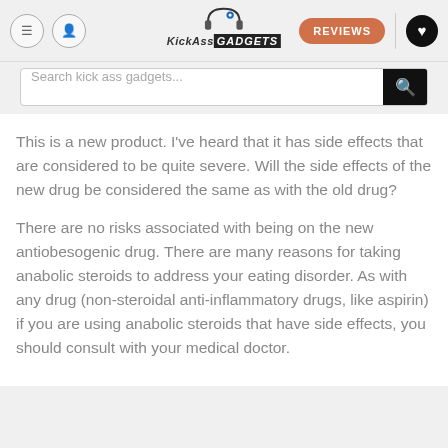[Figure (logo): KickAss Gadgets website header with headphone logo, hamburger menu, user icon, Reviews button, and heart icon]
Search kick ass gadgets...
This is a new product. I've heard that it has side effects that are considered to be quite severe. Will the side effects of the new drug be considered the same as with the old drug?
There are no risks associated with being on the new antiobesogenic drug. There are many reasons for taking anabolic steroids to address your eating disorder. As with any drug (non-steroidal anti-inflammatory drugs, like aspirin) if you are using anabolic steroids that have side effects, you should consult with your medical doctor.